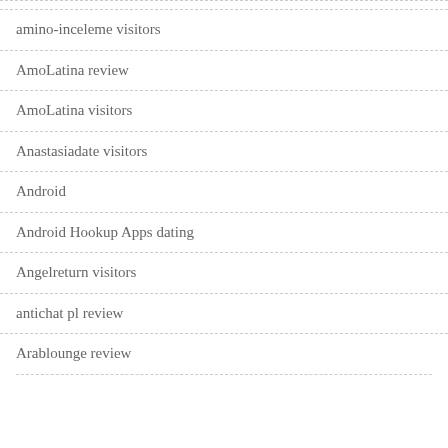amino-inceleme visitors
AmoLatina review
AmoLatina visitors
Anastasiadate visitors
Android
Android Hookup Apps dating
Angelreturn visitors
antichat pl review
Arablounge review